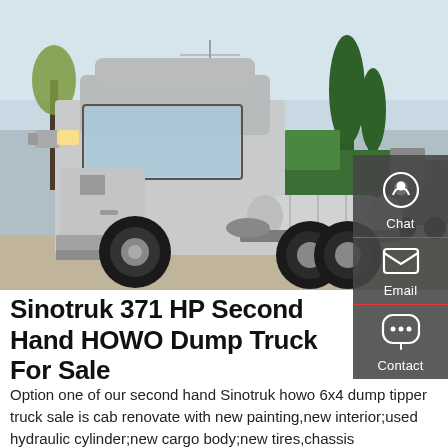[Figure (photo): Silver Sinotruk HOWO semi-truck tractor parked in a lot, with green trucks visible in the background and trees/power lines in the distance. Outdoor shot, overcast sky.]
Sinotruk 371 HP Second Hand HOWO Dump Truck For Sale
Option one of our second hand Sinotruk howo 6x4 dump tipper truck sale is cab renovate with new painting,new interior;used hydraulic cylinder;new cargo body;new tires,chassis renovate;engine